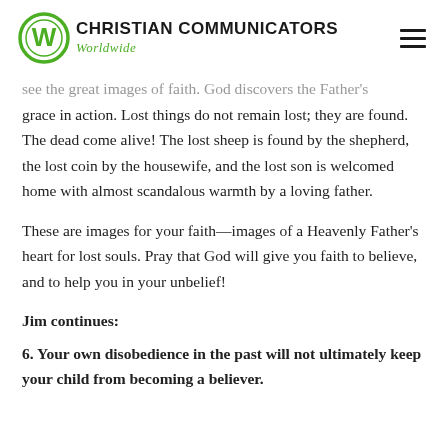Christian Communicators Worldwide
...see the great images of faith. God discovers the Father's grace in action. Lost things do not remain lost; they are found. The dead come alive! The lost sheep is found by the shepherd, the lost coin by the housewife, and the lost son is welcomed home with almost scandalous warmth by a loving father.
These are images for your faith—images of a Heavenly Father's heart for lost souls. Pray that God will give you faith to believe, and to help you in your unbelief!
Jim continues:
6. Your own disobedience in the past will not ultimately keep your child from becoming a believer.